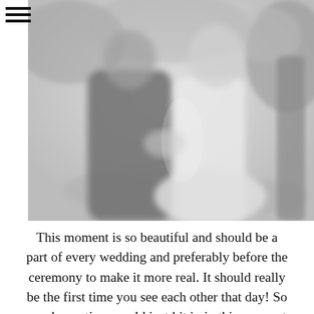[Figure (photo): Black and white blurred photograph of a couple standing outdoors, the groom in a dark suit on the left and the bride in a white dress on the right, with trees and foliage in the background. The image is soft-focused, giving a dreamy, romantic quality.]
This moment is so beautiful and should be a part of every wedding and preferably before the ceremony to make it more real. It should really be the first time you see each other that day! So much emotions could just hit in in this moment and it's just pure